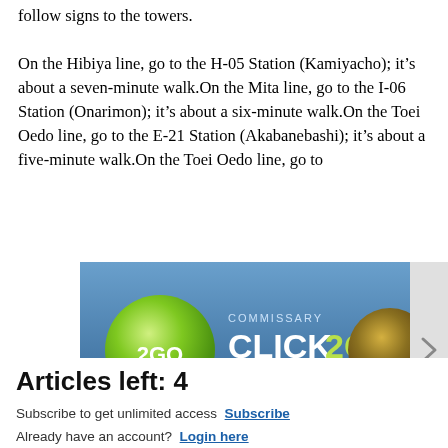follow signs to the towers. On the Hibiya line, go to the H-05 Station (Kamiyacho); it&#8217;s about a seven-minute walk.On the Mita line, go to the I-06 Station (Onarimon); it&#8217;s about a six-minute walk.On the Toei Oedo line, go to the E-21 Station (Akabanebashi); it&#8217;s about a five-minute walk.On the Toei Oedo line, go to
[Figure (screenshot): Advertisement banner for Commissary Click2Go service showing green logo, commissary badge, and order groceries text on blue background]
Articles left: 4
Subscribe to get unlimited access Subscribe
Already have an account? Login here